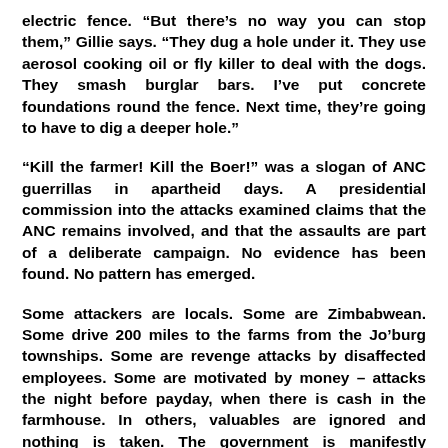electric fence. “But there’s no way you can stop them,” Gillie says. “They dug a hole under it. They use aerosol cooking oil or fly killer to deal with the dogs. They smash burglar bars. I’ve put concrete foundations round the fence. Next time, they’re going to have to dig a deeper hole.”
“Kill the farmer! Kill the Boer!” was a slogan of ANC guerrillas in apartheid days. A presidential commission into the attacks examined claims that the ANC remains involved, and that the assaults are part of a deliberate campaign. No evidence has been found. No pattern has emerged.
Some attackers are locals. Some are Zimbabwean. Some drive 200 miles to the farms from the Jo’burg townships. Some are revenge attacks by disaffected employees. Some are motivated by money – attacks the night before payday, when there is cash in the farmhouse. In others, valuables are ignored and nothing is taken. The government is manifestly innocent - of inspiring the attacks, but ministers are more open to